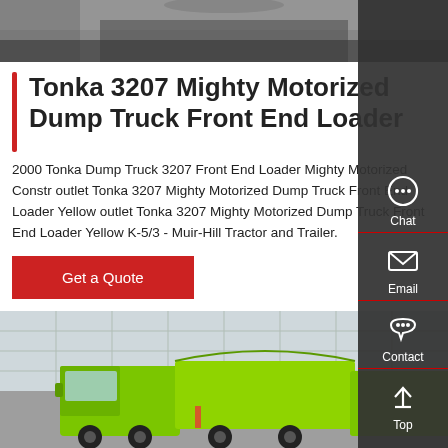[Figure (photo): Top portion of a vehicle undercarriage/dark surface photo, cropped]
Tonka 3207 Mighty Motorized Dump Truck Front End Loader
2000 Tonka Dump Truck 3207 Front End Loader Mighty Motorized Constr outlet Tonka 3207 Mighty Motorized Dump Truck Front End Loader Yellow outlet Tonka 3207 Mighty Motorized Dump Truck Front End Loader Yellow K-5/3 - Muir-Hill Tractor and Trailer.
[Figure (other): Get a Quote red button]
[Figure (photo): Green dump trucks parked in front of a building]
[Figure (infographic): Sidebar with Chat, Email, Contact, and Top navigation icons]